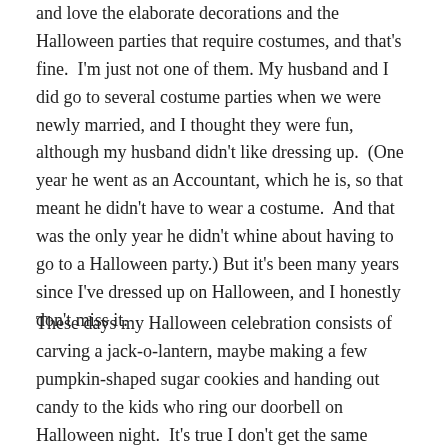and love the elaborate decorations and the Halloween parties that require costumes, and that's fine.  I'm just not one of them. My husband and I did go to several costume parties when we were newly married, and I thought they were fun, although my husband didn't like dressing up.  (One year he went as an Accountant, which he is, so that meant he didn't have to wear a costume.  And that was the only year he didn't whine about having to go to a Halloween party.) But it's been many years since I've dressed up on Halloween, and I honestly don't miss it.
These days my Halloween celebration consists of carving a jack-o-lantern, maybe making a few pumpkin-shaped sugar cookies and handing out candy to the kids who ring our doorbell on Halloween night.  It's true I don't get the same feelings of anticipation and